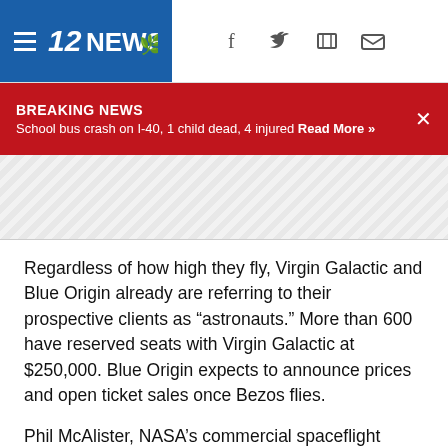12NEWS
BREAKING NEWS
School bus crash on I-40, 1 child dead, 4 injured Read More »
[Figure (other): Diagonal stripe placeholder/ad area]
Regardless of how high they fly, Virgin Galactic and Blue Origin already are referring to their prospective clients as “astronauts.” More than 600 have reserved seats with Virgin Galactic at $250,000. Blue Origin expects to announce prices and open ticket sales once Bezos flies.
Phil McAlister, NASA’s commercial spaceflight director, considers it a space renaissance, especially as the space station gets set to welcome a string of paying visitors, beginning with a Russian actress and movie producer in October, a pair of Japanese in December and a SpaceX-